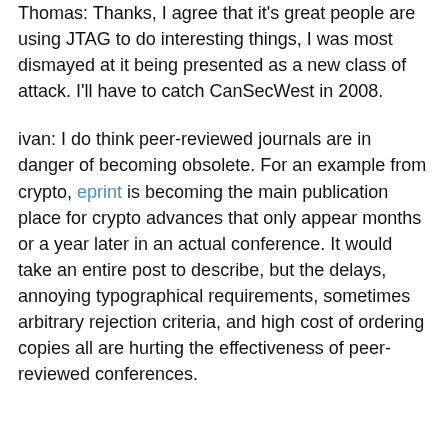Thomas: Thanks, I agree that it's great people are using JTAG to do interesting things, I was most dismayed at it being presented as a new class of attack. I'll have to catch CanSecWest in 2008.
ivan: I do think peer-reviewed journals are in danger of becoming obsolete. For an example from crypto, eprint is becoming the main publication place for crypto advances that only appear months or a year later in an actual conference. It would take an entire post to describe, but the delays, annoying typographical requirements, sometimes arbitrary rejection criteria, and high cost of ordering copies all are hurting the effectiveness of peer-reviewed conferences.